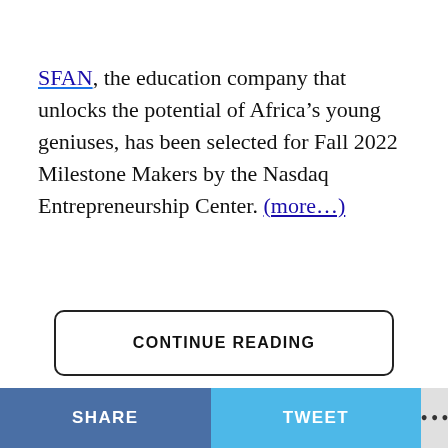SFAN, the education company that unlocks the potential of Africa's young geniuses, has been selected for Fall 2022 Milestone Makers by the Nasdaq Entrepreneurship Center. (more...)
CONTINUE READING
SHARE   TWEET   ...